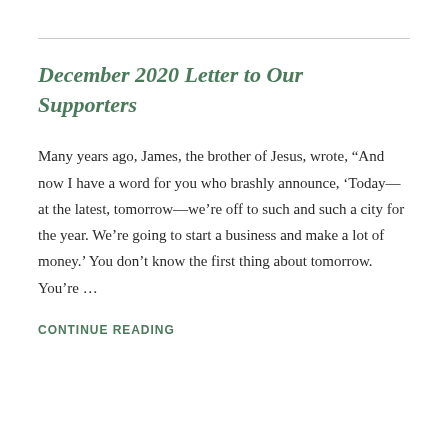December 2020 Letter to Our Supporters
Many years ago, James, the brother of Jesus, wrote, “And now I have a word for you who brashly announce, ‘Today—at the latest, tomorrow—we’re off to such and such a city for the year. We’re going to start a business and make a lot of money.’ You don’t know the first thing about tomorrow. You’re …
CONTINUE READING